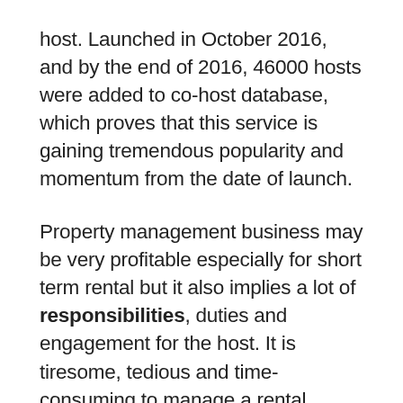host. Launched in October 2016, and by the end of 2016, 46000 hosts were added to co-host database, which proves that this service is gaining tremendous popularity and momentum from the date of launch.
Property management business may be very profitable especially for short term rental but it also implies a lot of responsibilities, duties and engagement for the host. It is tiresome, tedious and time-consuming to manage a rental property and many hosts cannot handle this task individually. Airbnb understood this pressing concern and it was quick to implement a revenue sharing system. This swift yet major